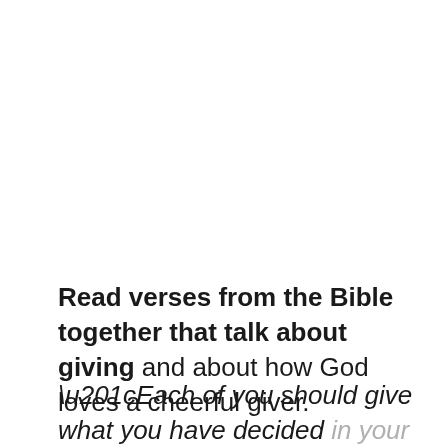Read verses from the Bible together that talk about giving and about how God loves a cheerful giver.
“Each of you should give what you have decided in your heart to give, not reluctantly or under